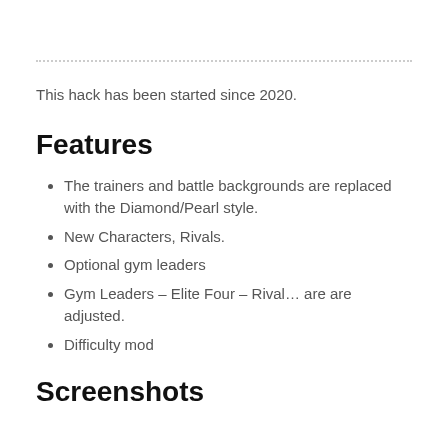This hack has been started since 2020.
Features
The trainers and battle backgrounds are replaced with the Diamond/Pearl style.
New Characters, Rivals.
Optional gym leaders
Gym Leaders – Elite Four – Rival… are are adjusted.
Difficulty mod
Screenshots